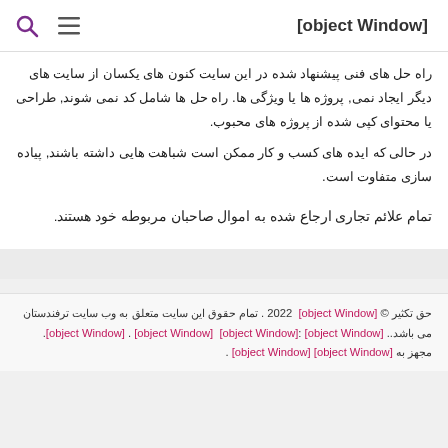[object Window]
راه حل های فنی پیشنهاد شده در این سایت کنون های یکسان از سایت های دیگر ایجاد نمی, پروژه ها یا ویژگی ها. راه حل ها شامل کد نمی شوند, طراحی یا محتوای کپی شده از پروژه های محبوب.
در حالی که ایده های کسب و کار ممکن است شباهت هایی داشته باشند, پیاده سازی متفاوت است.
تمام علائم تجاری ارجاع شده به اموال صاحبان مربوطه خود هستند.
حق تکثیر © 2022 [object Window] . تمام حقوق این سایت متعلق به وب سایت ترفندستان می باشد.. [object Window]:[object Window] [object Window] . [object Window]. مجهز به [object Window] [object Window] .